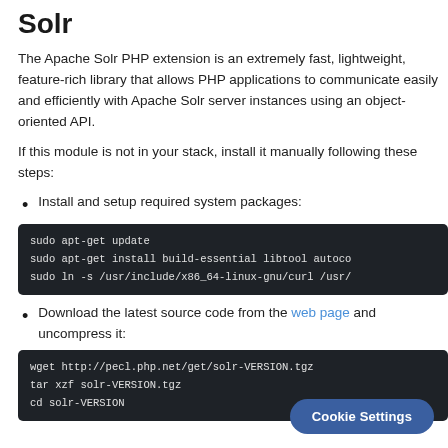Solr
The Apache Solr PHP extension is an extremely fast, lightweight, feature-rich library that allows PHP applications to communicate easily and efficiently with Apache Solr server instances using an object-oriented API.
If this module is not in your stack, install it manually following these steps:
Install and setup required system packages:
[Figure (screenshot): Dark terminal code block showing: sudo apt-get update / sudo apt-get install build-essential libtool autoc... / sudo ln -s /usr/include/x86_64-linux-gnu/curl /usr/...]
Download the latest source code from the web page and uncompress it:
[Figure (screenshot): Dark terminal code block showing: wget http://pecl.php.net/get/solr-VERSION.tgz / tar xzf solr-VERSION.tgz / cd solr-VERSION]